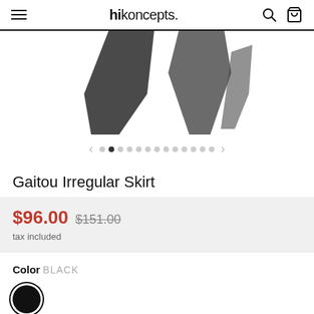hikoncepts.
[Figure (photo): Partial product image showing dark geometric shapes/skirt, cropped at top]
[Figure (other): Image carousel navigation with left arrow, 13 dots (second active), right arrow]
Gaitou Irregular Skirt
$96.00  $151.00
tax included
Color  BLACK
[Figure (other): Black color swatch circle with ring border]